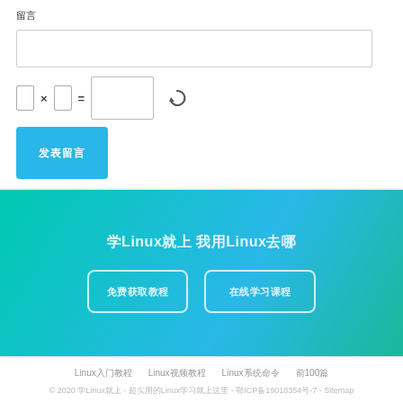留言
[Figure (screenshot): Comment/留言 form with text area input box, CAPTCHA math puzzle (□ × □ = [answer box]) with refresh icon, and a blue submit button with Chinese text]
学Linux就上 我用Linux去哪
免费获取教程   在线学习课程
Linux入门教程   Linux视频教程   Linux系统命令   前100篇
© 2020 学Linux就上 - 超实用的Linux学习就上这里 - 鄂ICP备19018354号-7 - Sitemap